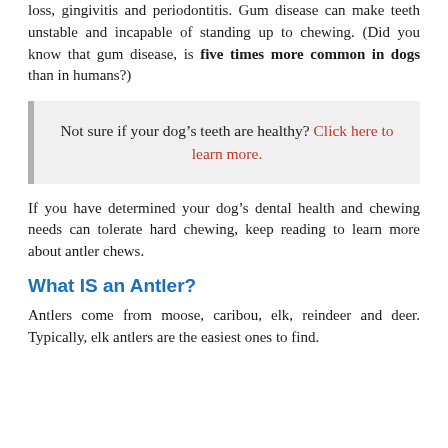loss, gingivitis and periodontitis. Gum disease can make teeth unstable and incapable of standing up to chewing. (Did you know that gum disease, is five times more common in dogs than in humans?)
Not sure if your dog’s teeth are healthy? Click here to learn more.
If you have determined your dog’s dental health and chewing needs can tolerate hard chewing, keep reading to learn more about antler chews.
What IS an Antler?
Antlers come from moose, caribou, elk, reindeer and deer. Typically, elk antlers are the easiest ones to find.